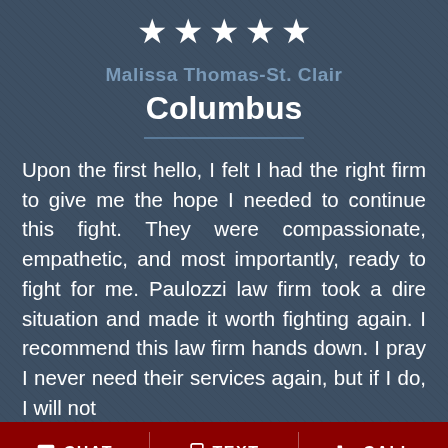[Figure (other): Five white stars rating]
Malissa Thomas-St. Clair
Columbus
Upon the first hello, I felt I had the right firm to give me the hope I needed to continue this fight. They were compassionate, empathetic, and most importantly, ready to fight for me. Paulozzi law firm took a dire situation and made it worth fighting again. I recommend this law firm hands down. I pray I never need their services again, but if I do, I will not
CHAT  TEXT  CALL